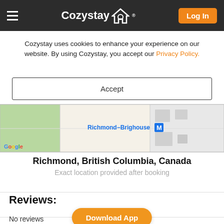Cozystay [logo] — hamburger menu — Log In button
Cozystay uses cookies to enhance your experience on our website. By using Cozystay, you accept our Privacy Policy.
Accept
[Figure (map): Google Maps screenshot showing Richmond-Brighouse area with metro station marker]
Richmond, British Columbia, Canada
Exact location provided after booking
Reviews:
No reviews
Download App